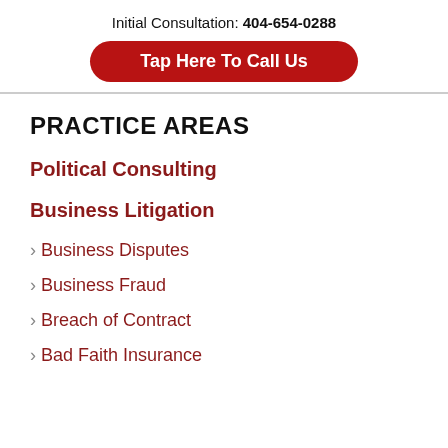Initial Consultation: 404-654-0288
Tap Here To Call Us
PRACTICE AREAS
Political Consulting
Business Litigation
Business Disputes
Business Fraud
Breach of Contract
Bad Faith Insurance